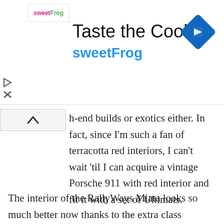[Figure (logo): sweetFrog advertisement banner with logo, 'Taste the Cool' title, sweetFrog brand name in blue, and blue diamond navigation icon]
h-end builds or exotics either. In fact, since I'm such a fan of terracotta red interiors, I can't wait 'til I can acquire a vintage Porsche 911 with red interior and fit it with a set of Ultimats.
The interior of the RallyWays Miata looks so much better now thanks to the extra class brought by my new Lloyd Ultimat floor mats from Part Catalog. Their Ultimat choices can be found here. The RallyWays Miata is a car that already garners lots of praise at every show I